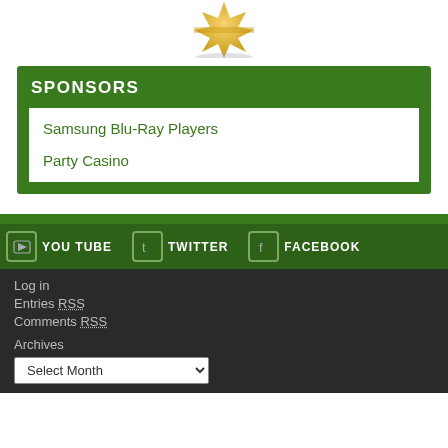[Figure (illustration): Gold badge/seal at top of page, partially cropped]
SPONSORS
Samsung Blu-Ray Players
Party Casino
YOU TUBE   TWITTER   FACEBOOK
Log in
Entries RSS
Comments RSS
Archives
Select Month